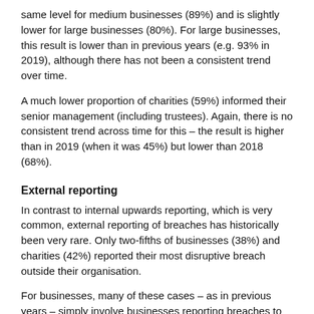same level for medium businesses (89%) and is slightly lower for large businesses (80%). For large businesses, this result is lower than in previous years (e.g. 93% in 2019), although there has not been a consistent trend over time.
A much lower proportion of charities (59%) informed their senior management (including trustees). Again, there is no consistent trend across time for this – the result is higher than in 2019 (when it was 45%) but lower than 2018 (68%).
External reporting
In contrast to internal upwards reporting, which is very common, external reporting of breaches has historically been very rare. Only two-fifths of businesses (38%) and charities (42%) reported their most disruptive breach outside their organisation.
For businesses, many of these cases – as in previous years – simply involve businesses reporting breaches to their external cyber security providers and no one else. When excluding these cases, we find that businesses reported externally only in a quarter of cases (27%). For charities, this